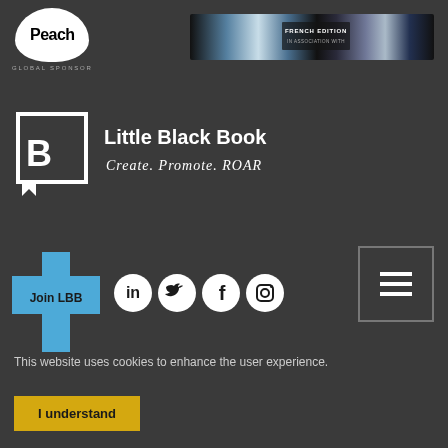[Figure (logo): Peach Global Sponsor logo — white teardrop/speech-bubble shape containing bold black text 'Peach', with 'GLOBAL SPONSOR' text below]
[Figure (photo): Dark banner image with text 'FRENCH EDITION' and abstract light/dark shapes, appears to be a promotional banner]
[Figure (logo): Little Black Book logo — square bracket B icon in white on dark background]
Little Black Book
Create. Promote. ROAR
[Figure (illustration): Blue cross/plus shape with 'Join LBB' button text in center]
[Figure (illustration): LinkedIn social icon - white circle with LinkedIn logo]
[Figure (illustration): Twitter social icon - white circle with Twitter bird logo]
[Figure (illustration): Facebook social icon - white circle with Facebook f logo]
[Figure (illustration): Instagram social icon - white circle with Instagram camera logo]
[Figure (illustration): Hamburger menu icon in dark square outline box]
This website uses cookies to enhance the user experience.
I understand